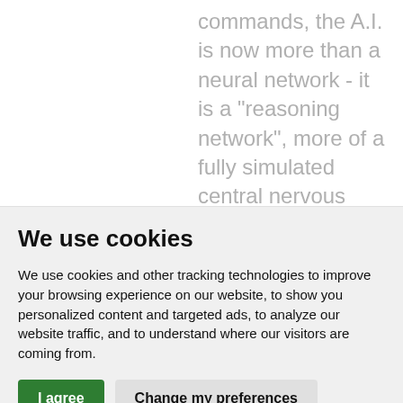commands, the A.I. is now more than a neural network - it is a "reasoning network", more of a fully simulated central nervous system with components like a Hippocampus,
We use cookies
We use cookies and other tracking technologies to improve your browsing experience on our website, to show you personalized content and targeted ads, to analyze our website traffic, and to understand where our visitors are coming from.
I agree   Change my preferences